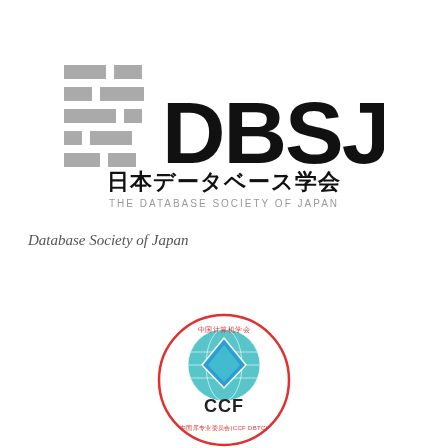[Figure (logo): DBSJ logo with stacked gray rectangles on the left and bold black text 'DBSJ' on the right, with Japanese text '日本データベース学会' below and 'THE DATABASE SOCIETY OF JAPAN' in small gray caps beneath that.]
Database Society of Japan
[Figure (logo): CCF (Chinese Computer Federation) Database Technical Committee round seal logo in teal and red, showing a globe with a diamond shape in the center and 'CCF' text, surrounded by Chinese characters and red text '中国库专业委员会(CCF DBTC)'.]